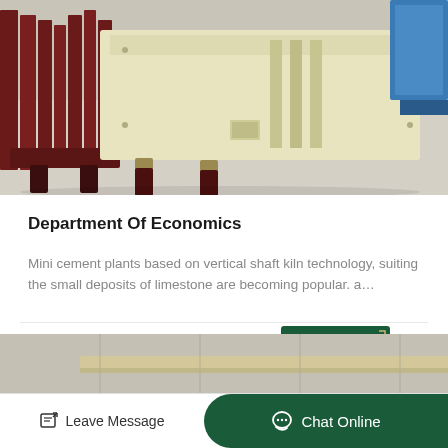[Figure (photo): Industrial machinery photo showing a row of crusher or industrial equipment parts in dark red/maroon and cream/yellow colors on a concrete floor in a warehouse or factory setting.]
Department Of Economics
Mini cement plants based on vertical shaft kiln technology, suiting the small deposits of limestone are becoming popular. a…
Dec_7
GET PRICE
[Figure (photo): Partial bottom image showing industrial machinery or equipment in a factory setting.]
Leave Message
Chat Online